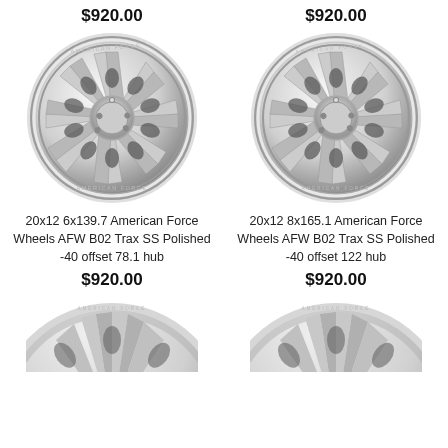$920.00
$920.00
[Figure (photo): Polished American Force Wheels AFW B02 Trax SS wheel, 20x12 6x139.7, -40 offset 78.1 hub]
[Figure (photo): Polished American Force Wheels AFW B02 Trax SS wheel, 20x12 8x165.1, -40 offset 122 hub]
20x12 6x139.7 American Force Wheels AFW B02 Trax SS Polished -40 offset 78.1 hub
20x12 8x165.1 American Force Wheels AFW B02 Trax SS Polished -40 offset 122 hub
$920.00
$920.00
[Figure (photo): Partial view of another polished American Force wheel at the bottom left]
[Figure (photo): Partial view of another polished American Force wheel at the bottom right]